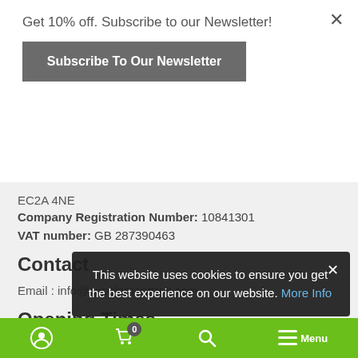Get 10% off. Subscribe to our Newsletter!
Subscribe To Our Newsletter
EC2A 4NE
Company Registration Number: 10841301
VAT number: GB 287390463
Contact
Email : info@supplementtree.com
Opening Times
Supplement Tree is open Monday to Friday 9am until 5pm GMT
This website uses cookies to ensure you get the best experience on our website. More Info